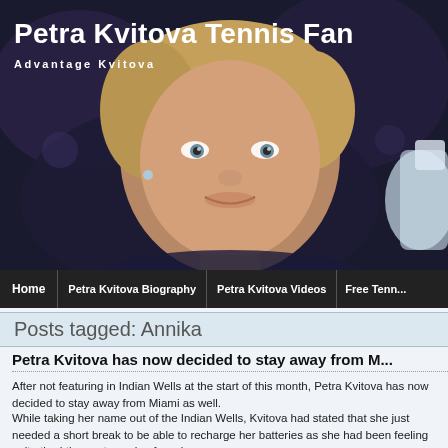Petra Kvitova Tennis Fan
Advantage Kvitova
[Figure (photo): Photo of Petra Kvitova smiling, holding a trophy, dark background]
Home | Petra Kvitova Biography | Petra Kvitova Videos | Free Tenn...
Posts tagged: Annika
Petra Kvitova has now decided to stay away from M...
After not featuring in Indian Wells at the start of this month, Petra Kvitova has now decided to stay away from Miami as well.
While taking her name out of the Indian Wells, Kvitova had stated that she just needed a short break to be able to recharge her batteries as she had been feeling quite tired the past couple of weeks.